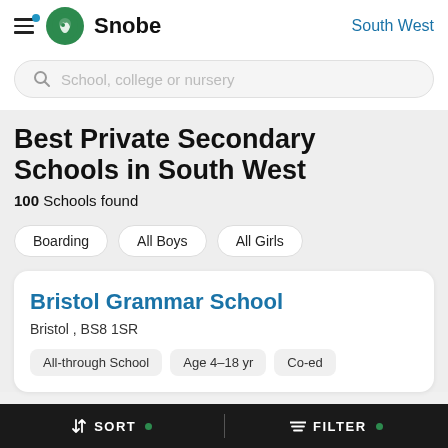Snobe | South West
School, college or nursery
Best Private Secondary Schools in South West
100 Schools found
Boarding
All Boys
All Girls
Bristol Grammar School
Bristol , BS8 1SR
All-through School | Age 4–18 yr | Co-ed
SORT • | FILTER •